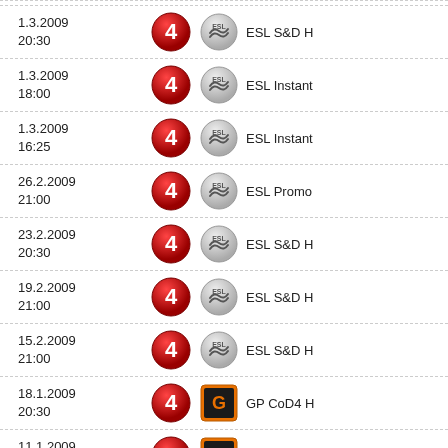1.3.2009 20:30 ESL S&D H
1.3.2009 18:00 ESL Instant
1.3.2009 16:25 ESL Instant
26.2.2009 21:00 ESL Promo
23.2.2009 20:30 ESL S&D H
19.2.2009 21:00 ESL S&D H
15.2.2009 21:00 ESL S&D H
18.1.2009 20:30 GP CoD4 H
11.1.2009 20:15 GP CoD4 H